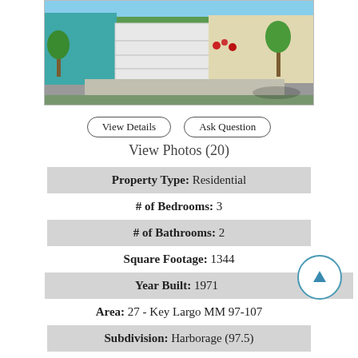[Figure (photo): Exterior photo of a residential property with a teal/turquoise building, white garage door, driveway, and landscaping with trees and red flowers.]
View Details
Ask Question
View Photos (20)
| Property Type: | Residential |
| # of Bedrooms: | 3 |
| # of Bathrooms: | 2 |
| Square Footage: | 1344 |
| Year Built: | 1971 |
| Area: | 27 - Key Largo MM 97-107 |
| Subdivision: | Harborage (97.5) |